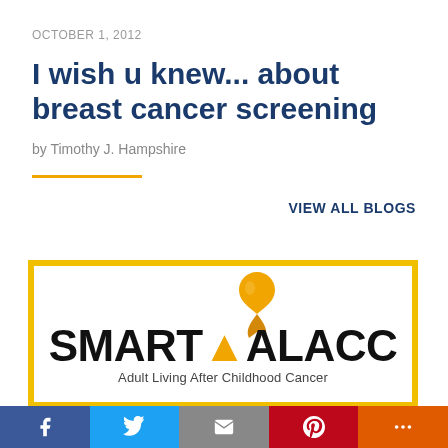OCTOBER 1, 2012
I wish u knew... about breast cancer screening
by Timothy J. Hampshire
VIEW ALL BLOGS
[Figure (logo): SMART ALACC - Adult Living After Childhood Cancer logo with a gold/yellow awareness ribbon, inside a yellow border frame]
Social share bar with Facebook, Twitter, Email, Pinterest, and More buttons